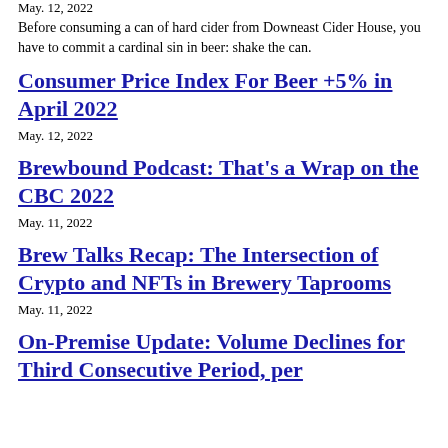May. 12, 2022
Before consuming a can of hard cider from Downeast Cider House, you have to commit a cardinal sin in beer: shake the can.
Consumer Price Index For Beer +5% in April 2022
May. 12, 2022
Brewbound Podcast: That's a Wrap on the CBC 2022
May. 11, 2022
Brew Talks Recap: The Intersection of Crypto and NFTs in Brewery Taprooms
May. 11, 2022
On-Premise Update: Volume Declines for Third Consecutive Period, per